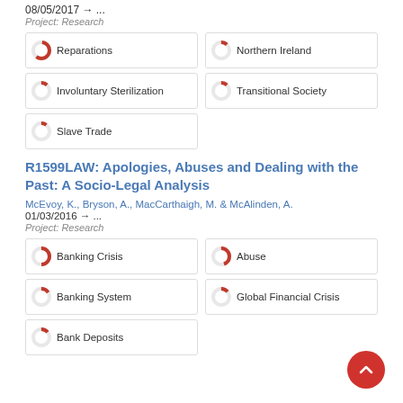08/05/2017 → ...
Project: Research
Reparations
Northern Ireland
Involuntary Sterilization
Transitional Society
Slave Trade
R1599LAW: Apologies, Abuses and Dealing with the Past: A Socio-Legal Analysis
McEvoy, K., Bryson, A., MacCarthaigh, M. & McAlinden, A.
01/03/2016 → ...
Project: Research
Banking Crisis
Abuse
Banking System
Global Financial Crisis
Bank Deposits